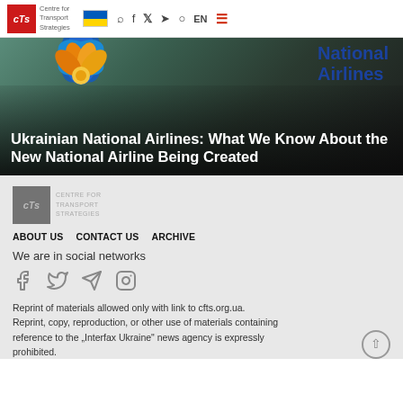CTs Centre for Transport Strategies | [Ukraine flag] | search | facebook | twitter | telegram | instagram | EN | menu
[Figure (photo): Hero image with Ukrainian National Airlines decorative flower imagery and dark gradient overlay, with text 'National Airlines' visible top right]
Ukrainian National Airlines: What We Know About the New National Airline Being Created
[Figure (logo): CTS Centre for Transport Strategies footer logo in grey]
ABOUT US   CONTACT US   ARCHIVE
We are in social networks
[Figure (infographic): Social media icons: facebook, twitter, telegram, instagram in grey]
Reprint of materials allowed only with link to cfts.org.ua. Reprint, copy, reproduction, or other use of materials containing reference to the „Interfax Ukraine" news agency is expressly prohibited.